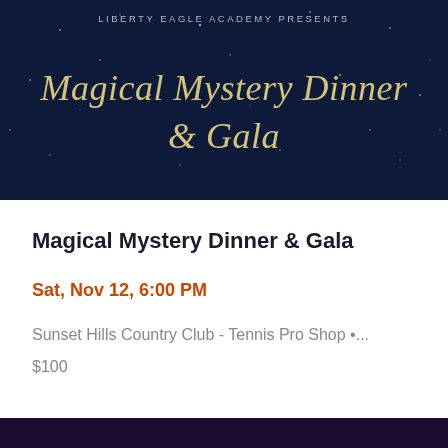[Figure (illustration): Dark navy blue banner with starry night background. Text at top reads 'LIBERTY EAGLE ACADEMY PRESENTS' in small caps. Below in large gold/cream script: 'Magical Mystery Dinner & Gala']
Magical Mystery Dinner & Gala
Sat, Nov 12, 6:00 PM
Sunset Hills Country Club - Tennis Pro Shop •...
$100
[Figure (logo): Eventbrite + Ticketfly logo on dark purple background, with circle 'e' icon, vertical divider, and stylized text 'eventbrite + ticketfly'. Below: '© 2022 Eventbrite']